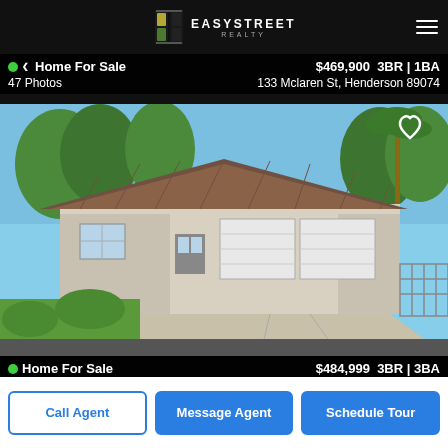EasyStreet Realty
Home For Sale   $469,900   3BR | 1BA
47 Photos   133 Mclaren St, Henderson 89074
[Figure (photo): Exterior photo of a single-story house with tile roof, white garage doors, palm trees, and green lawn in Henderson, NV]
Home For Sale   $484,999   3BR | 3BA
26 Photos   3107 Cooper Creek Dr, Henderson 89074
[Figure (photo): Partial exterior photo of multiple homes in Henderson, NV]
Call Agent
Message Agent
Schedule Tour